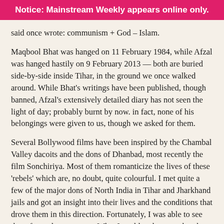Notice: Mainstream Weekly appears online only.
said once wrote: communism + God – Islam.
Maqbool Bhat was hanged on 11 February 1984, while Afzal was hanged hastily on 9 February 2013 — both are buried side-by-side inside Tihar, in the ground we once walked around. While Bhat's writings have been published, though banned, Afzal's extensively detailed diary has not seen the light of day; probably burnt by now. in fact, none of his belongings were given to us, though we asked for them.
Several Bollywood films have been inspired by the Chambal Valley dacoits and the dons of Dhanbad, most recently the film Sonchiriya. Most of them romanticize the lives of these 'rebels' which are, no doubt, quite colourful. I met quite a few of the major dons of North India in Tihar and Jharkhand jails and got an insight into their lives and the conditions that drove them in this direction. Fortunately, I was able to see them from close quarters. What I could gather was that they were part of, and also